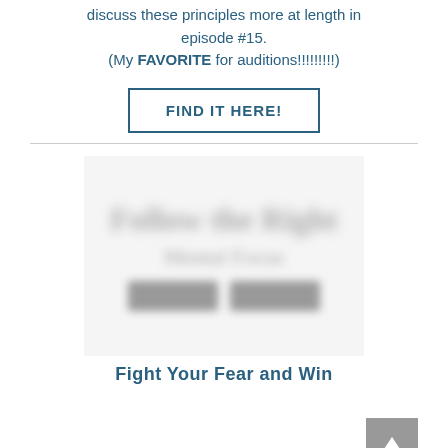discuss these principles more at length in episode #15.
(My FAVORITE for auditions!!!!!!!!!)
FIND IT HERE!
[Figure (other): Blurred book cover image showing a book with text and two purchase buttons]
Fight Your Fear and Win